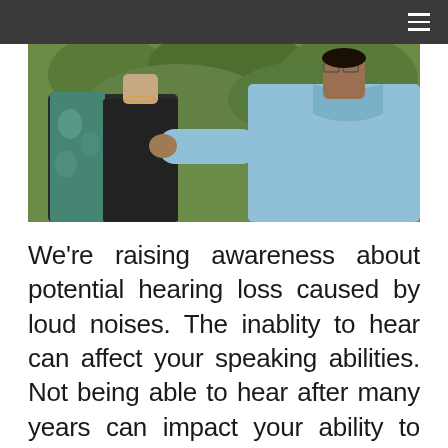[Figure (photo): Two men outdoors, one wearing a dark t-shirt with a backpack and the other wearing a light blue shirt, touching the first man's shoulder. Green foliage in the background.]
We're raising awareness about potential hearing loss caused by loud noises. The inablity to hear can affect your speaking abilities. Not being able to hear after many years can impact your ability to remember the way speech sounds.